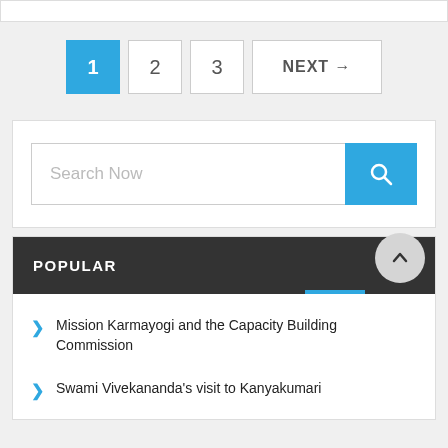1 (active/current page)
2
3
NEXT →
Search Now
POPULAR
Mission Karmayogi and the Capacity Building Commission
Swami Vivekananda's visit to Kanyakumari